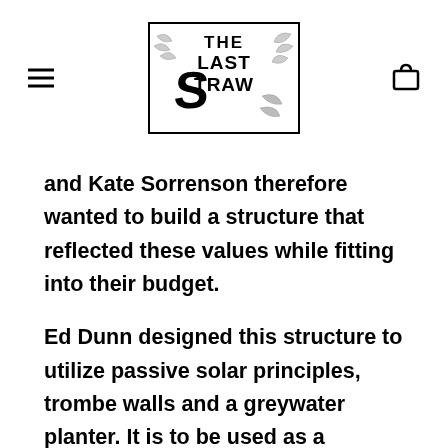The Last Straw (logo)
and Kate Sorrenson therefore wanted to build a structure that reflected these values while fitting into their budget.
Ed Dunn designed this structure to utilize passive solar principles, trombe walls and a greywater planter. It is to be used as a combination classroom, performance hall, and wrestling gym,